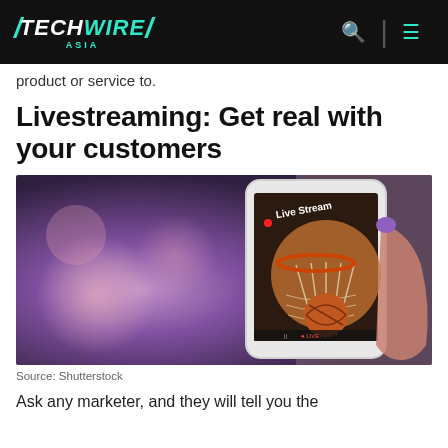TECHWIRE ASIA
product or service to.
Livestreaming: Get real with your customers
[Figure (photo): A hand with purple nail polish holding a smartphone that displays a basketball going through a hoop with 'Live Stream' text and a red recording dot on the screen. The background is blurred purple/pink bokeh.]
Source: Shutterstock
Ask any marketer, and they will tell you the